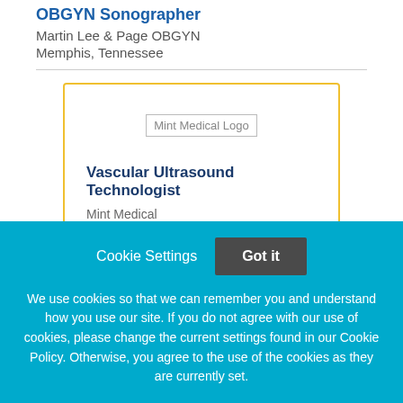OBGYN Sonographer
Martin Lee & Page OBGYN
Memphis, Tennessee
[Figure (logo): Mint Medical Logo placeholder image]
Vascular Ultrasound Technologist
Mint Medical
San Leandro, California
Cookie Settings
Got it
We use cookies so that we can remember you and understand how you use our site. If you do not agree with our use of cookies, please change the current settings found in our Cookie Policy. Otherwise, you agree to the use of the cookies as they are currently set.